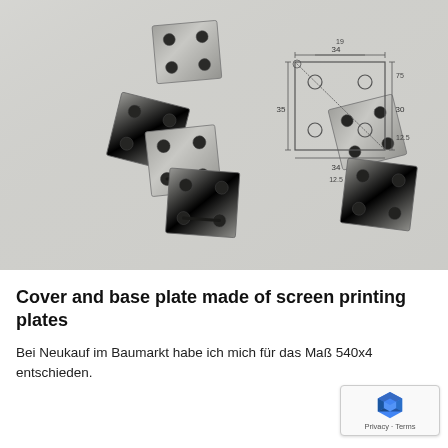[Figure (photo): Photograph of several small square metal plates with holes, arranged on a white surface alongside a hand-drawn engineering sketch showing dimensions of the plate (34, 15, 30, 12.5 mm approx) with hole positions marked]
Cover and base plate made of screen printing plates
Bei Neukauf im Baumarkt habe ich mich für das Maß 540x4 entschieden.